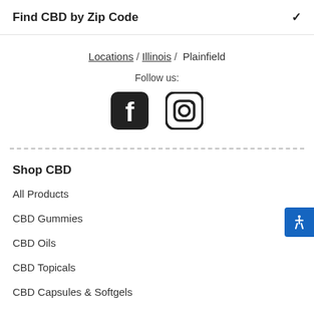Find CBD by Zip Code
Locations / Illinois / Plainfield
Follow us:
[Figure (logo): Facebook and Instagram social media icons]
Shop CBD
All Products
CBD Gummies
CBD Oils
CBD Topicals
CBD Capsules & Softgels